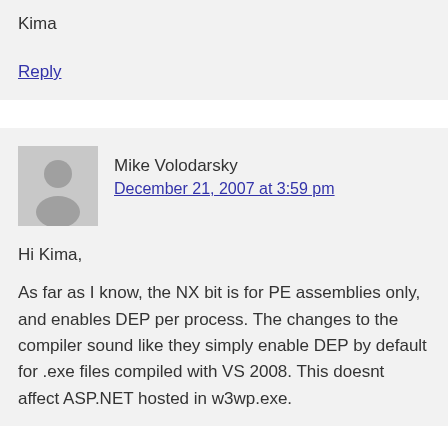Kima
Reply
Mike Volodarsky
December 21, 2007 at 3:59 pm
Hi Kima,
As far as I know, the NX bit is for PE assemblies only, and enables DEP per process. The changes to the compiler sound like they simply enable DEP by default for .exe files compiled with VS 2008. This doesnt affect ASP.NET hosted in w3wp.exe.